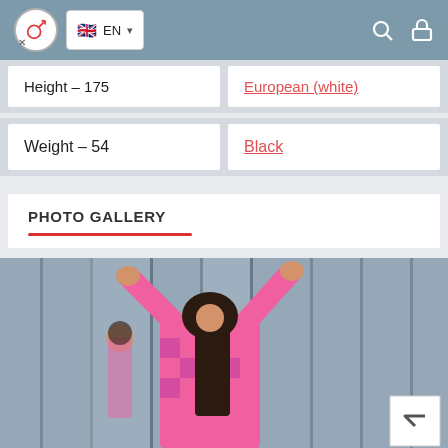EN
Height – 175
European (white)
Weight – 54
Black
PHOTO GALLERY
[Figure (photo): Woman with dark hair in pink top viewed from behind, with arms raised touching a glass window, reflection visible]